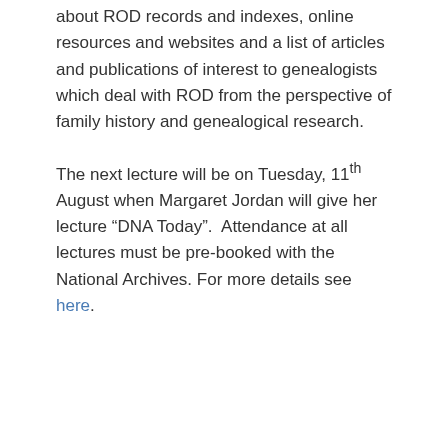about ROD records and indexes, online resources and websites and a list of articles and publications of interest to genealogists which deal with ROD from the perspective of family history and genealogical research.
The next lecture will be on Tuesday, 11th August when Margaret Jordan will give her lecture “DNA Today”.  Attendance at all lectures must be pre-booked with the National Archives. For more details see here.